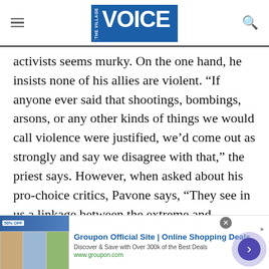the village VOICE
activists seems murky. On the one hand, he insists none of his allies are violent. “If anyone ever said that shootings, bombings, arsons, or any other kinds of things we would call violence were justified, we’d come out as strongly and say we disagree with that,” the priest says. However, when asked about his pro-choice critics, Pavone says, “They see in us a linkage between the extreme and mainstream. There is a truth there that they’re picking up on. We have always been a networking hub. The doors are open
[Figure (other): Groupon advertisement banner with images of people and products, title 'Groupon Official Site | Online Shopping Deals', tagline 'Discover & Save with Over 300k of the Best Deals', URL www.groupon.com, with a purple arrow navigation button]